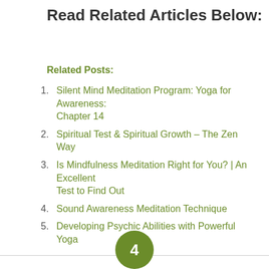Read Related Articles Below:
Related Posts:
Silent Mind Meditation Program: Yoga for Awareness: Chapter 14
Spiritual Test & Spiritual Growth – The Zen Way
Is Mindfulness Meditation Right for You? | An Excellent Test to Find Out
Sound Awareness Meditation Technique
Developing Psychic Abilities with Powerful Yoga
4